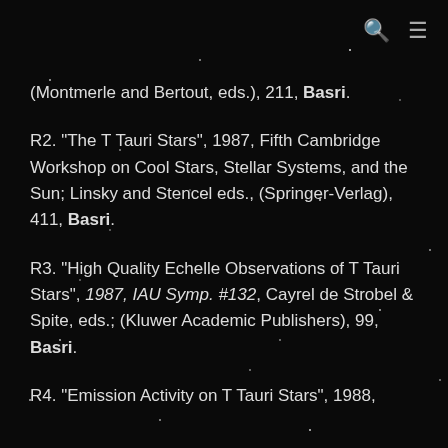🔍 ☰
(Montmerle and Bertout, eds.), 211, Basri.
R2. "The T Tauri Stars", 1987, Fifth Cambridge Workshop on Cool Stars, Stellar Systems, and the Sun; Linsky and Stencel eds., (Springer-Verlag), 411, Basri.
R3. "High Quality Echelle Observations of T Tauri Stars", 1987, IAU Symp. #132, Cayrel de Strobel & Spite, eds.; (Kluwer Academic Publishers), 99, Basri.
R4. "Emission Activity on T Tauri Stars", 1988,